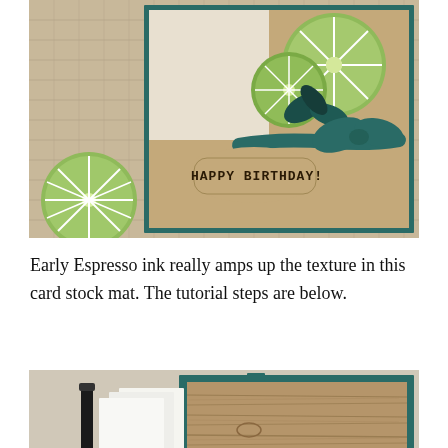[Figure (photo): A handmade birthday card featuring lime/citrus slice embellishments in green, dark teal leaves with glitter, a dark teal ribbon tied in a bow, a kraft card stock mat with wood grain texture, and a stamped 'HAPPY BIRTHDAY!' sentiment label. A separate lime slice embellishment sits to the left of the card on a burlap surface.]
Early Espresso ink really amps up the texture in this card stock mat. The tutorial steps are below.
[Figure (photo): A crafting tutorial photo showing supplies: a dark teal card stock mat, a piece of kraft/brown wood-grain textured card stock, white card stock sheets, and a black rubber brayer or rolling tool. The luv2stampwithde logo/watermark is visible at the bottom left.]